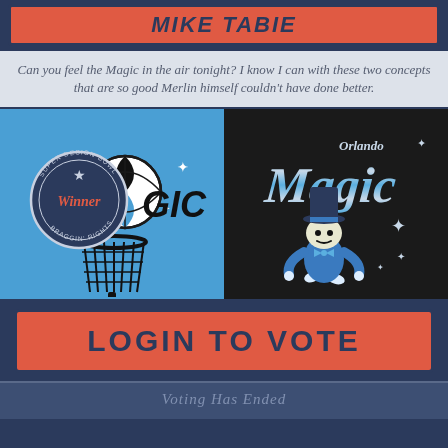MIKE TABIE
Can you feel the Magic in the air tonight? I know I can with these two concepts that are so good Merlin himself couldn't have done better.
[Figure (illustration): Blue background with a basketball hoop illustration and a circular badge that reads 'Super Design Bowl Winner Braggin Rights' with 'GIC' text and sparkles]
[Figure (illustration): Black background with retro Orlando Magic logo featuring a cartoon wizard/magician mascot wearing a top hat and suit, with 'Orlando Magic' script text in blue and white stripes]
LOGIN TO VOTE
Voting Has Ended